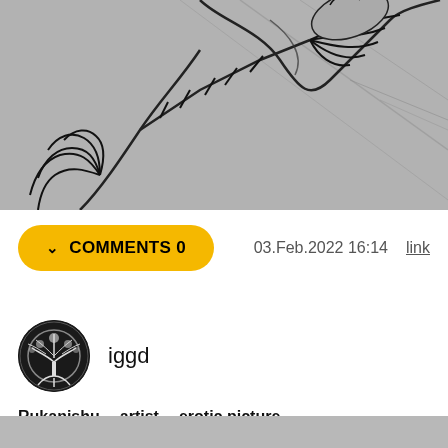[Figure (illustration): Black ink illustration on grey paper showing a creature with clawed hands/arms in a dynamic pose with diagonal motion lines]
COMMENTS 0   03.Feb.2022 16:14   link
[Figure (logo): Circular avatar icon with tree of life design in black and white]
iggd
Rukanishu   artist   erotic picture
[Figure (illustration): Bottom portion of another grey-toned illustration partially visible]